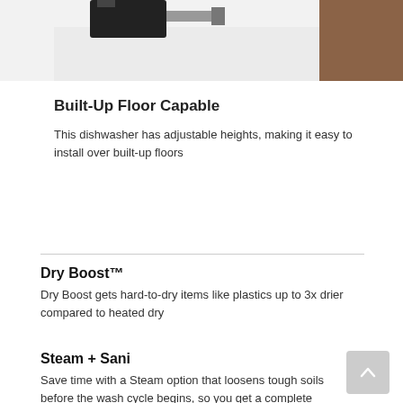[Figure (photo): Partial photo of a dishwasher installation tool being used on a floor surface]
Built-Up Floor Capable
This dishwasher has adjustable heights, making it easy to install over built-up floors
Dry Boost™
Dry Boost gets hard-to-dry items like plastics up to 3x drier compared to heated dry
Steam + Sani
Save time with a Steam option that loosens tough soils before the wash cycle begins, so you get a complete